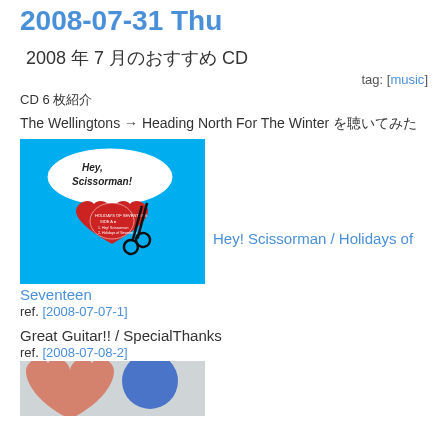2008-07-31 Thu
■ 2008 年 7 月のおすすめ CD
tag: [music]
CD 6 枚紹介
The Wellingtons → Heading North For The Winter を聴いてみた
[Figure (photo): Album cover for Hey! Scissorman / Holidays of Seventeen - blue background with red heart and scissors]
Hey! Scissorman / Holidays of Seventeen
ref. [2008-07-07-1]
Great Guitar!! / SpecialThanks
ref. [2008-07-08-2]
[Figure (photo): Album cover partially visible at bottom of page]